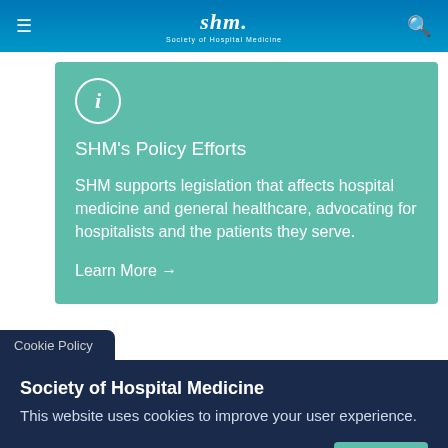SHM. Society of Hospital Medicine
[Figure (infographic): Teal info card with circle 'i' icon, title 'SHM’s Policy Efforts', body text about SHM legislation support, and 'Learn More →' link]
SHM’s Policy Efforts
SHM supports legislation that affects hospital medicine and general healthcare, advocating for hospitalists and the patients they serve.
Learn More →
Cookie Policy
Society of Hospital Medicine
This website uses cookies to improve your user experience.
Decline
Accept